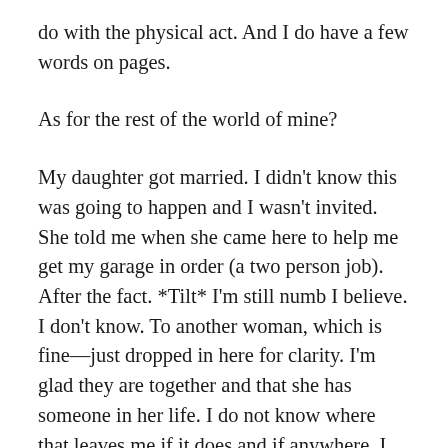do with the physical act. And I do have a few words on pages.
As for the rest of the world of mine?
My daughter got married. I didn't know this was going to happen and I wasn't invited. She told me when she came here to help me get my garage in order (a two person job). After the fact. *Tilt* I'm still numb I believe. I don't know. To another woman, which is fine—just dropped in here for clarity. I'm glad they are together and that she has someone in her life. I do not know where that leaves me if it does and if anywhere. I feel like a stranger looking in through the window, the window to their house. They are still definitely moving